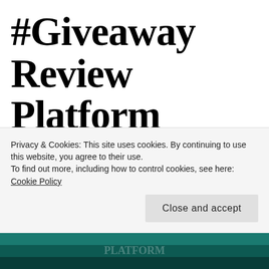#Giveaway Review Platform Dwellers by Katarina Boudreaux @mignonfleur @owlhollowpress
Privacy & Cookies: This site uses cookies. By continuing to use this website, you agree to their use.
To find out more, including how to control cookies, see here: Cookie Policy
[Figure (photo): Partial view of a book cover with teal/green tones at the bottom of the page]